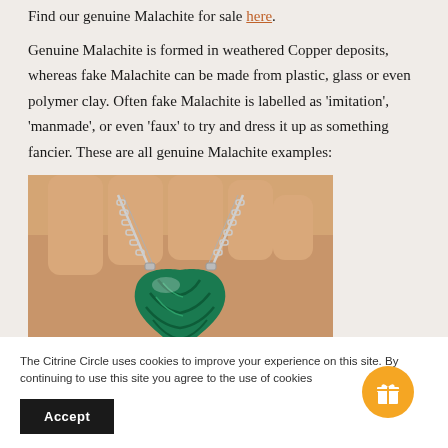Find our genuine Malachite for sale here.
Genuine Malachite is formed in weathered Copper deposits, whereas fake Malachite can be made from plastic, glass or even polymer clay. Often fake Malachite is labelled as 'imitation', 'manmade', or even 'faux' to try and dress it up as something fancier. These are all genuine Malachite examples:
[Figure (photo): A hand holding a green malachite heart-shaped pendant on a silver chain. The pendant shows characteristic green swirling patterns.]
The Citrine Circle uses cookies to improve your experience on this site. By continuing to use this site you agree to the use of cookies
Accept
GENUINE – SOFT COLOURS AND CIRCULAR PATTERNS